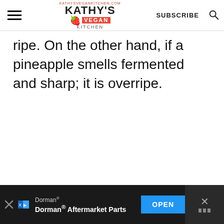KATHY'S VEGAN KITCHEN | SUBSCRIBE
ripe. On the other hand, if a pineapple smells fermented and sharp; it is overripe.
[Figure (other): Advertisement banner: Dorman® Aftermarket Parts with OPEN button]